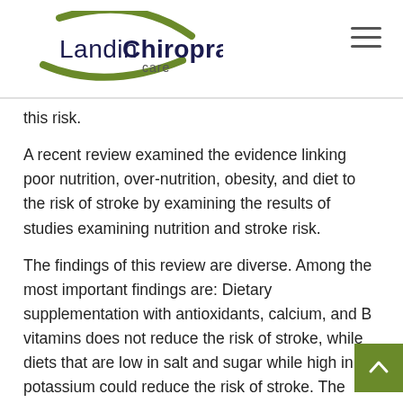Landin Chiropractic care
this risk.
A recent review examined the evidence linking poor nutrition, over-nutrition, obesity, and diet to the risk of stroke by examining the results of studies examining nutrition and stroke risk.
The findings of this review are diverse. Among the most important findings are: Dietary supplementation with antioxidants, calcium, and B vitamins does not reduce the risk of stroke, while diets that are low in salt and sugar while high in potassium could reduce the risk of stroke. The overall quality of the diet, and balance between energy intake and expenditure (avoiding over-